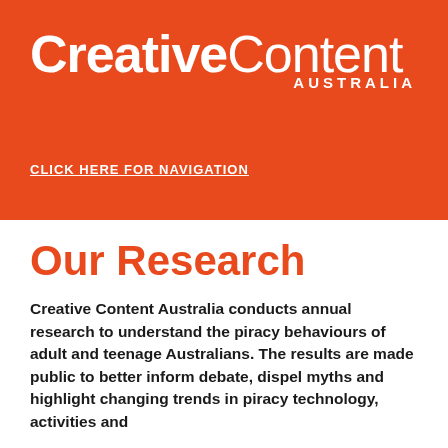[Figure (logo): Creative Content Australia logo in white text on orange background. 'Creative' in bold and 'Content' in light weight, with 'AUSTRALIA' in small caps below.]
CLICK HERE FOR NAVIGATION
Our Research
Creative Content Australia conducts annual research to understand the piracy behaviours of adult and teenage Australians. The results are made public to better inform debate, dispel myths and highlight changing trends in piracy technology, activities and